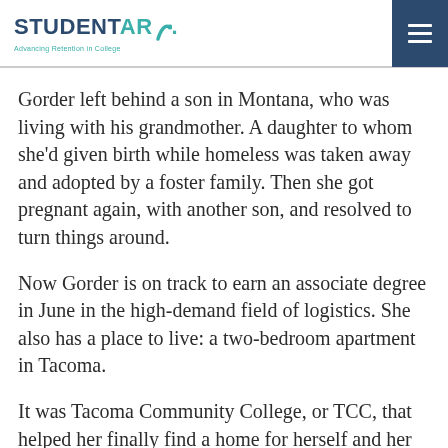STUDENT ARC - Advancing Retention in College
Gorder left behind a son in Montana, who was living with his grandmother. A daughter to whom she'd given birth while homeless was taken away and adopted by a foster family. Then she got pregnant again, with another son, and resolved to turn things around.
Now Gorder is on track to earn an associate degree in June in the high-demand field of logistics. She also has a place to live: a two-bedroom apartment in Tacoma.
It was Tacoma Community College, or TCC, that helped her finally find a home for herself and her youngest son, now 3.